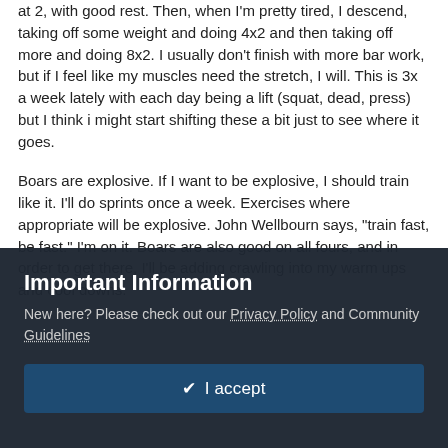at 2, with good rest.  Then, when I'm pretty tired, I descend, taking off some weight and doing 4x2 and then taking off more and doing 8x2.  I usually don't finish with more bar work, but if I feel like my muscles need the stretch, I will.  This is 3x a week lately with each day being a lift (squat, dead, press) but I think i might start shifting these a bit just to see where it goes.
Boars are explosive.  If I want to be explosive, I should train like it.  I'll do sprints once a week.  Exercises where appropriate will be explosive.  John Wellbourn says, "train fast, be fast."  I'm on it. Boars are also good on all fours, and in order to get there, I'll be adding crawling into my warm ups and cool downs.
Boars eat naturally.  I will, too.  My diet will be paleo, of course, and I'll try to focus on things I need.  Meats for satiety and muscle, roots and tubers
Important Information
New here? Please check out our Privacy Policy and Community Guidelines
✔ I accept